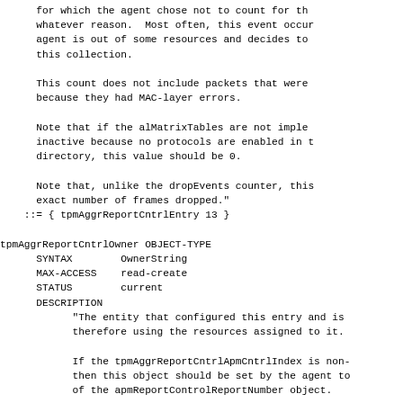for which the agent chose not to count for th
whatever reason.  Most often, this event occur
agent is out of some resources and decides to
this collection.

This count does not include packets that were
because they had MAC-layer errors.

Note that if the alMatrixTables are not impler
inactive because no protocols are enabled in t
directory, this value should be 0.

Note that, unlike the dropEvents counter, this
exact number of frames dropped."
    ::= { tpmAggrReportCntrlEntry 13 }

tpmAggrReportCntrlOwner OBJECT-TYPE
      SYNTAX        OwnerString
      MAX-ACCESS    read-create
      STATUS        current
      DESCRIPTION
            "The entity that configured this entry and is
            therefore using the resources assigned to it.

            If the tpmAggrReportCntrlApmCntrlIndex is non-
            then this object should be set by the agent to
            of the apmReportControlReportNumber object.